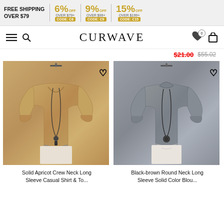FREE SHIPPING OVER $79 | 6% OFF OVER $79+ CODE: C6 | 9% OFF OVER $99+ CODE: C9 | 15% OFF OVER $199+ CODE: C15
CURWAVE
$21.00  $55.02
[Figure (photo): Solid apricot/tan crew neck long sleeve top worn with white drawstring pants and a long beaded necklace, displayed on a hanger against a brown background]
[Figure (photo): Black-brown/gray round neck long sleeve solid color blouse worn with white drawstring pants and a long beaded necklace, on a hanger against a brown background]
Solid Apricot Crew Neck Long Sleeve Casual Shirt & Top
Black-brown Round Neck Long Sleeve Solid Color Blouse